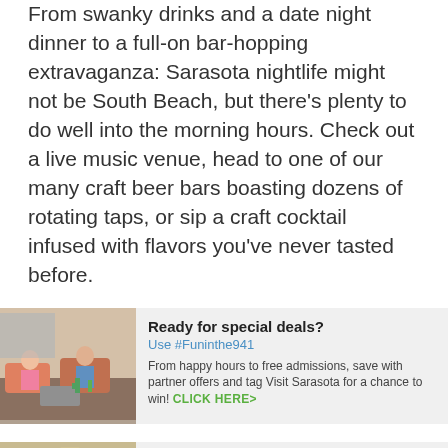From swanky drinks and a date night dinner to a full-on bar-hopping extravaganza: Sarasota nightlife might not be South Beach, but there's plenty to do well into the morning hours. Check out a live music venue, head to one of our many craft beer bars boasting dozens of rotating taps, or sip a craft cocktail infused with flavors you've never tasted before.
[Figure (photo): Two men sitting and smiling in a lounge area with cacti and coffee table]
Ready for special deals?
Use #Funinthe941
From happy hours to free admissions, save with partner offers and tag Visit Sarasota for a chance to win! CLICK HERE>
[Figure (photo): Partial image at bottom, outdoor scene]
Work Where You Want to Live